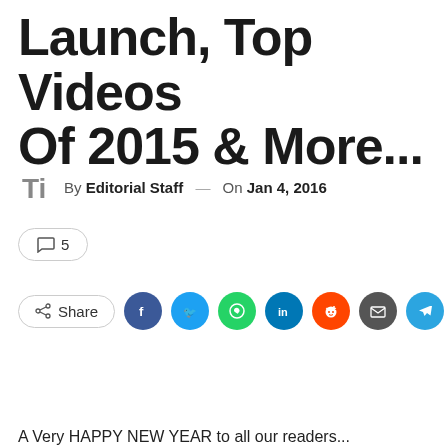Launch, Top Videos Of 2015 & More...
By Editorial Staff — On Jan 4, 2016
5
Share
A Very HAPPY NEW YEAR to all our readers...